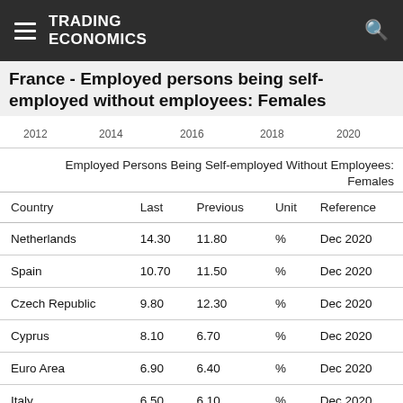TRADING ECONOMICS
France - Employed persons being self-employed without employees: Females
[Figure (continuous-plot): Partial view of a time-series chart with x-axis labels: 2012, 2014, 2016, 2018, 2020]
Employed Persons Being Self-employed Without Employees: Females
| Country | Last | Previous | Unit | Reference |
| --- | --- | --- | --- | --- |
| Netherlands | 14.30 | 11.80 | % | Dec 2020 |
| Spain | 10.70 | 11.50 | % | Dec 2020 |
| Czech Republic | 9.80 | 12.30 | % | Dec 2020 |
| Cyprus | 8.10 | 6.70 | % | Dec 2020 |
| Euro Area | 6.90 | 6.40 | % | Dec 2020 |
| Italy | 6.50 | 6.10 | % | Dec 2020 |